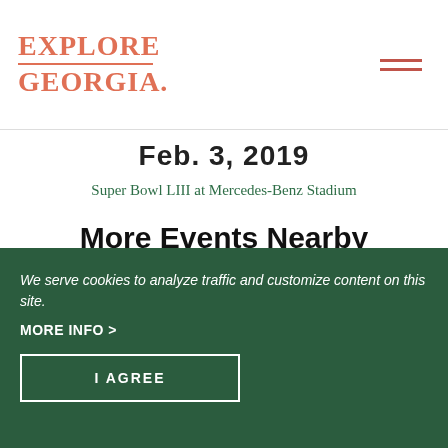EXPLORE GEORGIA
Feb. 3, 2019
Super Bowl LIII at Mercedes-Benz Stadium
More Events Nearby
Type
We serve cookies to analyze traffic and customize content on this site.
MORE INFO >
I AGREE